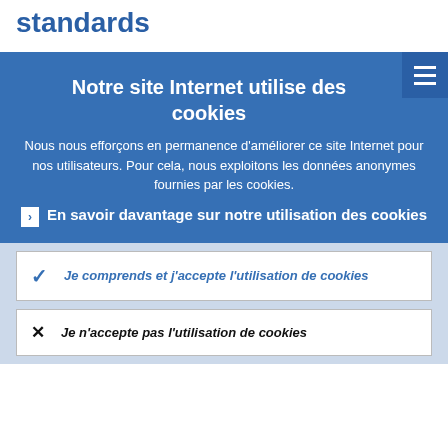standards
Notre site Internet utilise des cookies
Nous nous efforçons en permanence d'améliorer ce site Internet pour nos utilisateurs. Pour cela, nous exploitons les données anonymes fournies par les cookies.
En savoir davantage sur notre utilisation des cookies
Je comprends et j'accepte l'utilisation de cookies
Je n'accepte pas l'utilisation de cookies